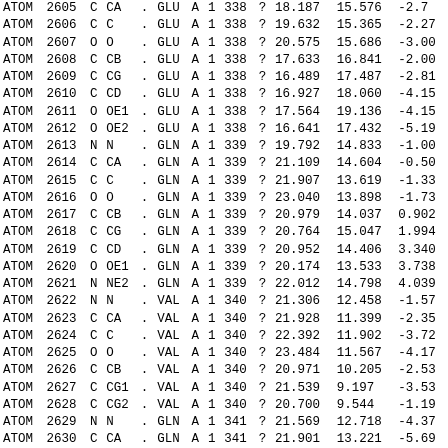| ATOM | 2605 | C | CA | . | GLU | A | 1 | 338 | ? | 18.187 | 15.576 | -2.7 |
| ATOM | 2606 | C | C | . | GLU | A | 1 | 338 | ? | 19.632 | 15.365 | -2.27 |
| ATOM | 2607 | O | O | . | GLU | A | 1 | 338 | ? | 20.575 | 15.686 | -3.00 |
| ATOM | 2608 | C | CB | . | GLU | A | 1 | 338 | ? | 17.633 | 16.841 | -2.00 |
| ATOM | 2609 | C | CG | . | GLU | A | 1 | 338 | ? | 16.489 | 17.487 | -2.81 |
| ATOM | 2610 | C | CD | . | GLU | A | 1 | 338 | ? | 16.927 | 18.060 | -4.15 |
| ATOM | 2611 | O | OE1 | . | GLU | A | 1 | 338 | ? | 17.564 | 19.136 | -4.15 |
| ATOM | 2612 | O | OE2 | . | GLU | A | 1 | 338 | ? | 16.641 | 17.432 | -5.19 |
| ATOM | 2613 | N | N | . | GLN | A | 1 | 339 | ? | 19.792 | 14.833 | -1.00 |
| ATOM | 2614 | C | CA | . | GLN | A | 1 | 339 | ? | 21.109 | 14.604 | -0.50 |
| ATOM | 2615 | C | C | . | GLN | A | 1 | 339 | ? | 21.907 | 13.619 | -1.33 |
| ATOM | 2616 | O | O | . | GLN | A | 1 | 339 | ? | 23.040 | 13.898 | -1.73 |
| ATOM | 2617 | C | CB | . | GLN | A | 1 | 339 | ? | 20.979 | 14.037 | 0.902 |
| ATOM | 2618 | C | CG | . | GLN | A | 1 | 339 | ? | 20.764 | 15.047 | 1.994 |
| ATOM | 2619 | C | CD | . | GLN | A | 1 | 339 | ? | 20.952 | 14.406 | 3.340 |
| ATOM | 2620 | O | OE1 | . | GLN | A | 1 | 339 | ? | 20.174 | 13.533 | 3.738 |
| ATOM | 2621 | N | NE2 | . | GLN | A | 1 | 339 | ? | 22.012 | 14.798 | 4.039 |
| ATOM | 2622 | N | N | . | VAL | A | 1 | 340 | ? | 21.306 | 12.458 | -1.57 |
| ATOM | 2623 | C | CA | . | VAL | A | 1 | 340 | ? | 21.928 | 11.399 | -2.35 |
| ATOM | 2624 | C | C | . | VAL | A | 1 | 340 | ? | 22.392 | 11.902 | -3.72 |
| ATOM | 2625 | O | O | . | VAL | A | 1 | 340 | ? | 23.484 | 11.567 | -4.17 |
| ATOM | 2626 | C | CB | . | VAL | A | 1 | 340 | ? | 20.971 | 10.205 | -2.53 |
| ATOM | 2627 | C | CG1 | . | VAL | A | 1 | 340 | ? | 21.539 | 9.197 | -3.53 |
| ATOM | 2628 | C | CG2 | . | VAL | A | 1 | 340 | ? | 20.700 | 9.544 | -1.19 |
| ATOM | 2629 | N | N | . | GLN | A | 1 | 341 | ? | 21.569 | 12.718 | -4.37 |
| ATOM | 2630 | C | CA | . | GLN | A | 1 | 341 | ? | 21.901 | 13.221 | -5.69 |
| ATOM | 2631 | C | C | . | GLN | A | 1 | 341 | ? | 23.016 | 14.246 | -5.63 |
| ATOM | 2632 | O | O | . | GLN | A | 1 | 341 | ? | 23.847 | 14.308 | -6.53 |
| ATOM | 2633 | C | CB | . | GLN | A | 1 | 341 | ? | 20.668 | 13.804 | -6.39 |
| ATOM | 2634 | C | CG | . | GLN | A | 1 | 341 | ? | 19.664 | 12.741 | -6.80 |